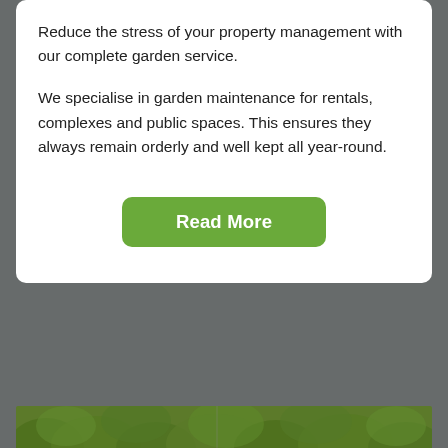Reduce the stress of your property management with our complete garden service.
We specialise in garden maintenance for rentals, complexes and public spaces. This ensures they always remain orderly and well kept all year-round.
Read More
[Figure (photo): Partial view of garden/greenery at bottom of page]